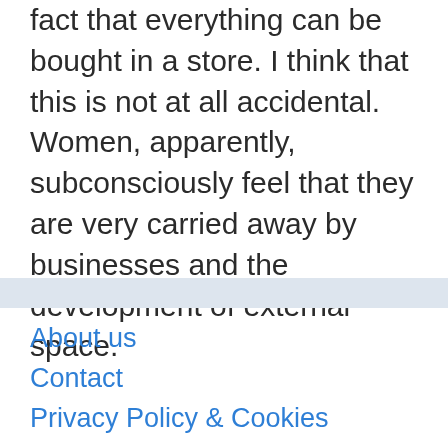fact that everything can be bought in a store. I think that this is not at all accidental. Women, apparently, subconsciously feel that they are very carried away by businesses and the development of external space.
About us
Contact
Privacy Policy & Cookies
ATTENTION TO RIGHT HOLDERS! All materials are posted on the site strictly for informational and educational purposes! If you believe that the posting of any material infringes your copyright, be sure to contact